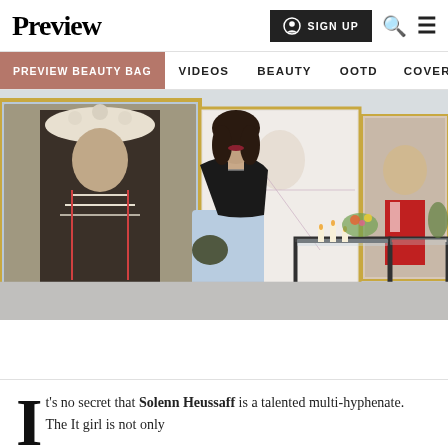Preview
SIGN UP   🔍   ☰
PREVIEW BEAUTY BAG   VIDEOS   BEAUTY   OOTD   COVER STORIES
[Figure (photo): Woman in black top and light blue wide-leg pants standing in an art gallery with large portrait paintings on the walls behind her. A glass table with candles and flowers is visible to her right.]
It's no secret that Solenn Heussaff is a talented multi-hyphenate. The It girl is not only